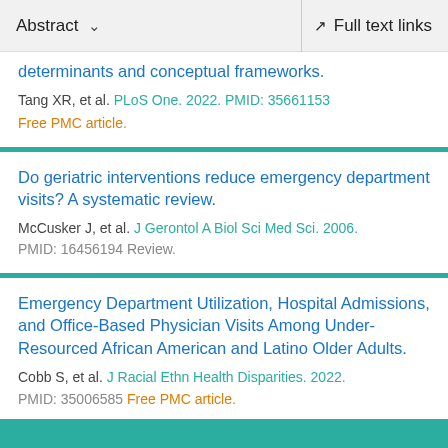Abstract   Full text links
determinants and conceptual frameworks.
Tang XR, et al. PLoS One. 2022. PMID: 35661153
Free PMC article.
Do geriatric interventions reduce emergency department visits? A systematic review.
McCusker J, et al. J Gerontol A Biol Sci Med Sci. 2006. PMID: 16456194 Review.
Emergency Department Utilization, Hospital Admissions, and Office-Based Physician Visits Among Under-Resourced African American and Latino Older Adults.
Cobb S, et al. J Racial Ethn Health Disparities. 2022. PMID: 35006585 Free PMC article.